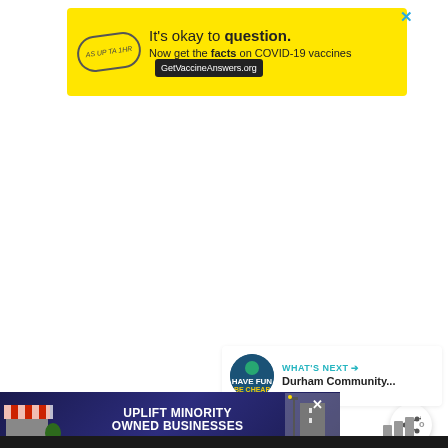[Figure (infographic): Yellow advertisement banner: 'It's okay to question. Now get the facts on COVID-19 vaccines GetVaccineAnswers.org' with a bandage badge logo and close button]
[Figure (infographic): Teal circular heart/favorite button]
[Figure (infographic): White circular share button with share icon]
[Figure (infographic): What's Next panel showing Durham Community... article thumbnail and label]
[Figure (infographic): Bottom advertisement: UPLIFT MINORITY OWNED BUSINESSES with store and road imagery on dark blue background]